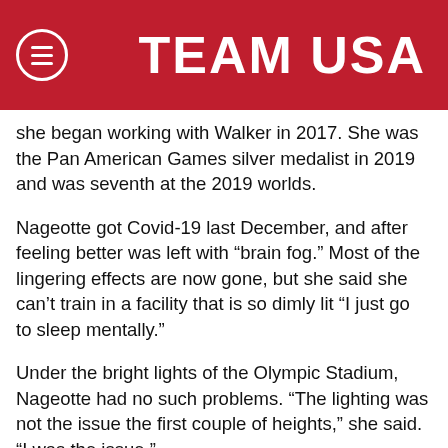TEAM USA
she began working with Walker in 2017. She was the Pan American Games silver medalist in 2019 and was seventh at the 2019 worlds.
Nageotte got Covid-19 last December, and after feeling better was left with “brain fog.” Most of the lingering effects are now gone, but she said she can’t train in a facility that is so dimly lit “I just go to sleep mentally.”
Under the bright lights of the Olympic Stadium, Nageotte had no such problems. “The lighting was not the issue the first couple of heights,” she said. “I was the issue.”
And then suddenly Nageotte was the Olympic champion. She’ll go home to Olmsted Falls for a meet and greet with the town of about 9,000 people on Aug. 13.